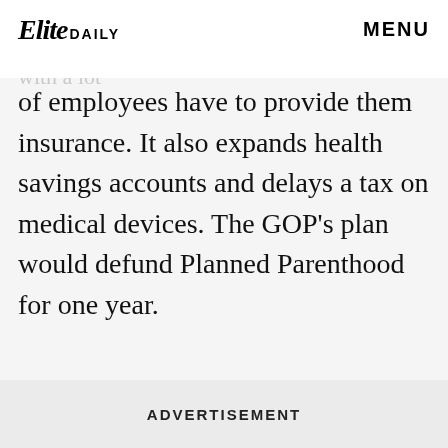Elite DAILY  MENU
have to get health insurance — and the employer mandate — which says companies with a lot of employees have to provide them insurance. It also expands health savings accounts and delays a tax on medical devices. The GOP's plan would defund Planned Parenthood for one year.
ADVERTISEMENT